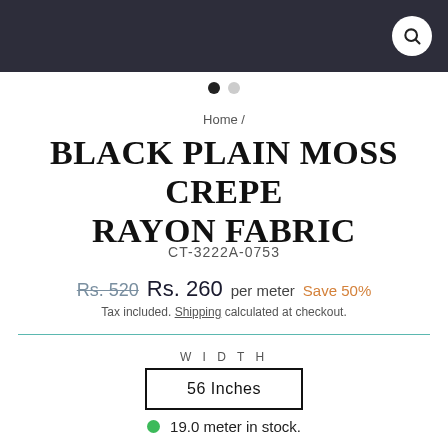[Figure (screenshot): Dark header bar with white circular search icon button on the right]
• •
Home /
BLACK PLAIN MOSS CREPE RAYON FABRIC
CT-3222A-0753
Rs. 520  Rs. 260  per meter  Save 50%
Tax included. Shipping calculated at checkout.
WIDTH
56 Inches
19.0 meter in stock.